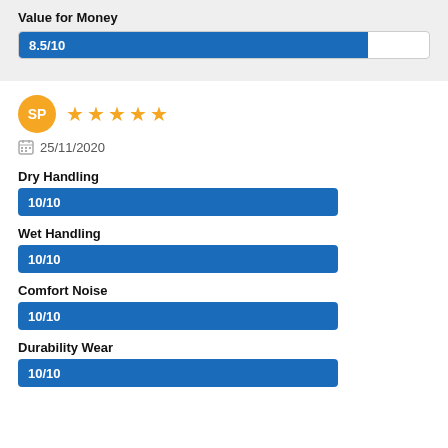Value for Money
[Figure (bar-chart): Value for Money]
[Figure (infographic): Reviewer avatar SP with 5 orange stars rating]
25/11/2020
Dry Handling
[Figure (bar-chart): Dry Handling]
Wet Handling
[Figure (bar-chart): Wet Handling]
Comfort Noise
[Figure (bar-chart): Comfort Noise]
Durability Wear
[Figure (bar-chart): Durability Wear]